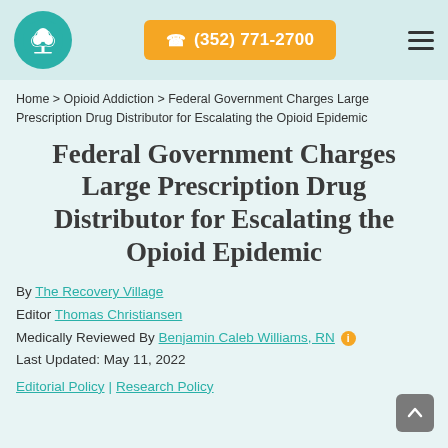Logo | ☎ (352) 771-2700 | menu
Home > Opioid Addiction > Federal Government Charges Large Prescription Drug Distributor for Escalating the Opioid Epidemic
Federal Government Charges Large Prescription Drug Distributor for Escalating the Opioid Epidemic
By The Recovery Village
Editor Thomas Christiansen
Medically Reviewed By Benjamin Caleb Williams, RN ⓘ
Last Updated: May 11, 2022
Editorial Policy | Research Policy